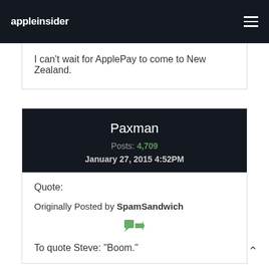appleinsider
I can't wait for ApplePay to come to New Zealand.
Paxman
Posts: 4,709
January 27, 2015 4:52PM
Quote:
Originally Posted by SpamSandwich
[Figure (other): Green forward/reply arrow icon]
To quote Steve:  "Boom."